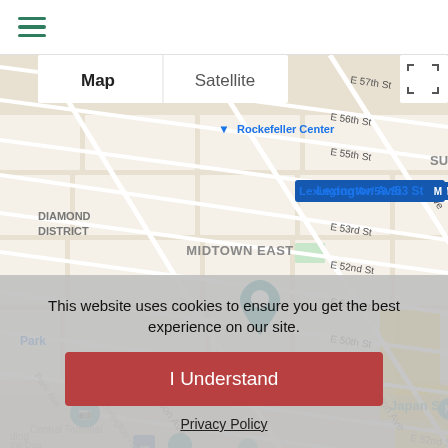☰ (hamburger menu)
[Figure (map): Google Maps view of Midtown East, Manhattan, New York. Shows streets including E 57th St, E 56th St, E 55th St, E 54th St, E 53rd St, E 52nd St, E 51st St, E 50th St, E 48th St, Madison Ave, Lexington Ave, 2nd Ave, 1st Ave. Labels include Rockefeller Center, Diamond District, Midtown East, Lexington Av/53 St subway station, MetLife Building, Japan Society. A teal location pin marker is visible near E 48th St and Lexington Ave. Map/Satellite toggle tabs and fullscreen button visible. Pegman figure in bottom right corner.]
This website uses cookies to ensure you get the best experience on our site.
I Understand
Privacy Policy